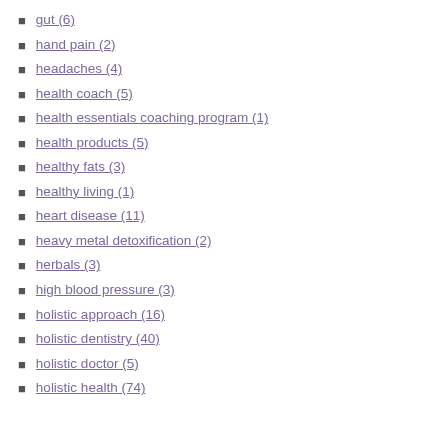gut (6)
hand pain (2)
headaches (4)
health coach (5)
health essentials coaching program (1)
health products (5)
healthy fats (3)
healthy living (1)
heart disease (11)
heavy metal detoxification (2)
herbals (3)
high blood pressure (3)
holistic approach (16)
holistic dentistry (40)
holistic doctor (5)
holistic health (74)